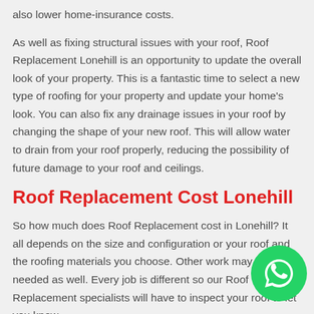also lower home-insurance costs.
As well as fixing structural issues with your roof, Roof Replacement Lonehill is an opportunity to update the overall look of your property. This is a fantastic time to select a new type of roofing for your property and update your home's look. You can also fix any drainage issues in your roof by changing the shape of your new roof. This will allow water to drain from your roof properly, reducing the possibility of future damage to your roof and ceilings.
Roof Replacement Cost Lonehill
So how much does Roof Replacement cost in Lonehill? It all depends on the size and configuration or your roof and the roofing materials you choose. Other work may be needed as well. Every job is different so our Roof Replacement specialists will have to inspect your roof to let you know